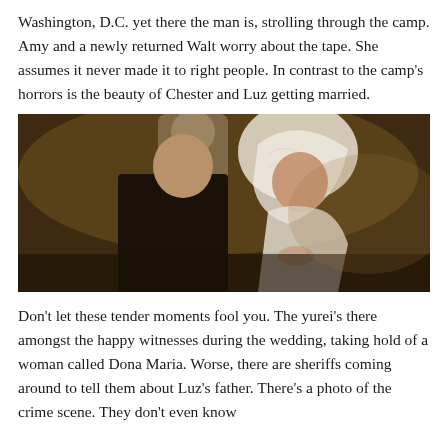Washington, D.C. yet there the man is, strolling through the camp. Amy and a newly returned Walt worry about the tape. She assumes it never made it to right people. In contrast to the camp's horrors is the beauty of Chester and Luz getting married.
[Figure (photo): A dark, warmly-lit photograph showing a man in a dark suit and a woman in a white wedding veil and dress, standing together as if at a wedding ceremony. A third person in a white shirt is visible blurred in the background.]
Don't let these tender moments fool you. The yurei's there amongst the happy witnesses during the wedding, taking hold of a woman called Dona Maria. Worse, there are sheriffs coming around to tell them about Luz's father. There's a photo of the crime scene. They don't even know